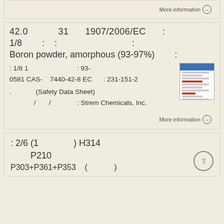More information →
42.0   31   1907/2006/EC   :
1/8   :   :                              :
Boron powder, amorphous (93-97%)   :
: 1/8 1                          : 93-
0581 CAS-   7440-42-8 EC   : 231-151-2
. (Safety Data Sheet)
/ / : Strem Chemicals, Inc.
More information →
: 2/6 (1       ) H314
       P210
P303+P361+P353  (          )